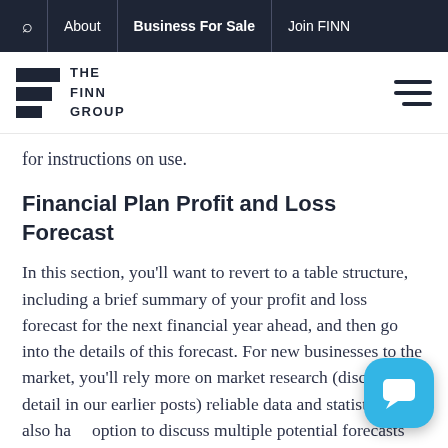🔍  About  |  Business For Sale  |  Join FINN
[Figure (logo): The Finn Group logo with dark rectangular blocks and text, and hamburger menu icon on the right]
for instructions on use.
Financial Plan Profit and Loss Forecast
In this section, you'll want to revert to a table structure, including a brief summary of your profit and loss forecast for the next financial year ahead, and then go into the details of this forecast. For new businesses to the market, you'll rely more on market research (discussed in detail in our earlier posts) reliable data and statistics. You also have option to discuss multiple potential forecasts